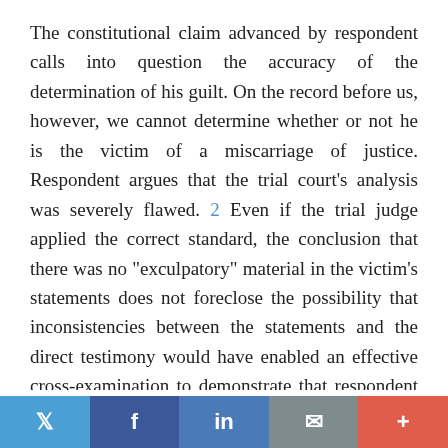The constitutional claim advanced by respondent calls into question the accuracy of the determination of his guilt. On the record before us, however, we cannot determine whether or not he is the victim of a miscarriage of justice. Respondent argues that the trial court's analysis was severely flawed. 2 Even if the trial judge applied the correct standard, the conclusion that there was no "exculpatory" material in the victim's statements does not foreclose the possibility that inconsistencies between the statements and the direct testimony would have enabled an effective cross-examination to demonstrate that respondent is actually innocent. 3 On the other hand, it is possible that other evidence of guilt in the record is so overwhelming that the trial judge's decision was clearly not prejudicial to the defendant. The important point is that we cannot evaluate the possibility that respondent may be the victim of a
Twitter | Facebook | LinkedIn | Email | More